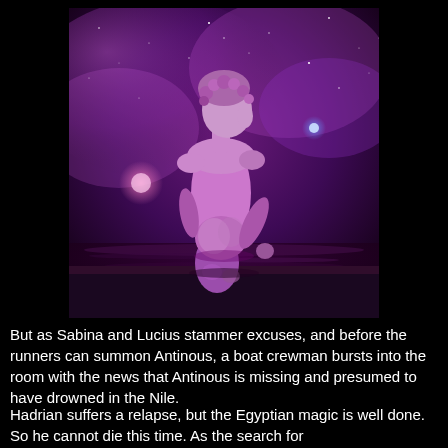[Figure (illustration): A classical marble statue of a young male figure (Antinous), viewed from behind and slightly to the right, standing in shallow water. The statue is rendered in a purple/violet hue against a cosmic nebula background with stars, glowing orbs of pink and blue light, and purple clouds. The overall tone is dramatic and surreal.]
But as Sabina and Lucius stammer excuses, and before the runners can summon Antinous, a boat crewman bursts into the room with the news that Antinous is missing and presumed to have drowned in the Nile.
Hadrian suffers a relapse, but the Egyptian magic is well done. So he cannot die this time. As the search for